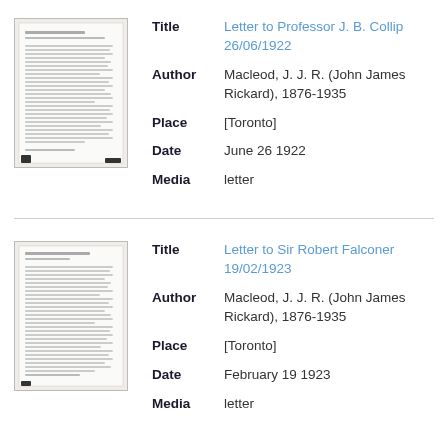[Figure (photo): Thumbnail of letter document page 1]
| Field | Value |
| --- | --- |
| Title | Letter to Professor J. B. Collip 26/06/1922 |
| Author | Macleod, J. J. R. (John James Rickard), 1876-1935 |
| Place | [Toronto] |
| Date | June 26 1922 |
| Media | letter |
[Figure (photo): Thumbnail of letter document page 2]
| Field | Value |
| --- | --- |
| Title | Letter to Sir Robert Falconer 19/02/1923 |
| Author | Macleod, J. J. R. (John James Rickard), 1876-1935 |
| Place | [Toronto] |
| Date | February 19 1923 |
| Media | letter |